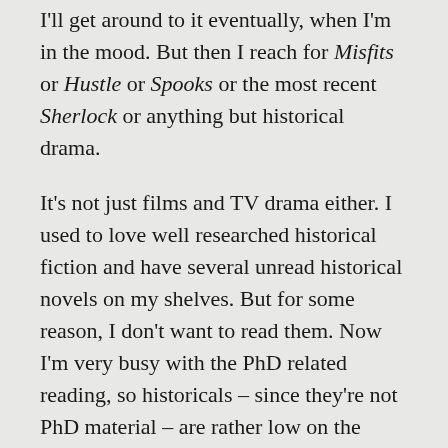I'll get around to it eventually, when I'm in the mood. But then I reach for Misfits or Hustle or Spooks or the most recent Sherlock or anything but historical drama.
It's not just films and TV drama either. I used to love well researched historical fiction and have several unread historical novels on my shelves. But for some reason, I don't want to read them. Now I'm very busy with the PhD related reading, so historicals – since they're not PhD material – are rather low on the reading list. But whenever I'm taking a break from the PhD books, I find myself drawn to contemporary romances, mysteries and chick lit, but not to historicals.
I used to blame my weariness with historical fiction on the fact that particularly historical romances are often so woefully inaccurate that I've pretty much given up